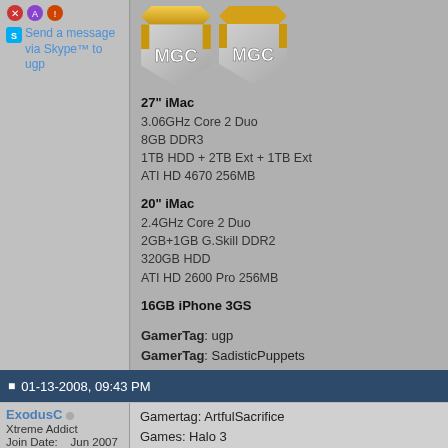Send a message via Skype™ to ugp
27" iMac
3.06GHz Core 2 Duo
8GB DDR3
1TB HDD + 2TB Ext + 1TB Ext
ATI HD 4670 256MB
20" iMac
2.4GHz Core 2 Duo
2GB+1GB G.Skill DDR2
320GB HDD
ATI HD 2600 Pro 256MB
16GB iPhone 3GS
GamerTag: ugp
GamerTag: SadisticPuppets
01-13-2008, 09:43 PM
ExodusC
Xtreme Addict
Join Date: Jun 2007
Gamertag: ArtfulSacrifice
Games: Halo 3